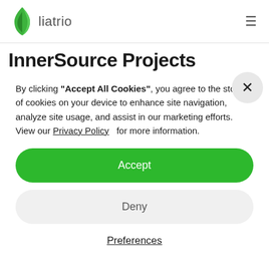liatrio
InnerSource Projects
By clicking "Accept All Cookies", you agree to the storing of cookies on your device to enhance site navigation, analyze site usage, and assist in our marketing efforts. View our Privacy Policy   for more information.
Accept
Deny
Preferences